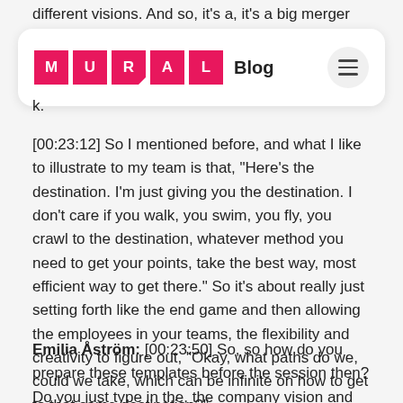different visions. And so, it's a, it's a big merger between,
[Figure (screenshot): MURAL Blog navigation bar with pink logo letters M U R A L, 'Blog' text, and hamburger menu icon on white rounded card]
k.
[00:23:12] So I mentioned before, and what I like to illustrate to my team is that, "Here's the destination. I'm just giving you the destination. I don't care if you walk, you swim, you fly, you crawl to the destination, whatever method you need to get your points, take the best way, most efficient way to get there." So it's about really just setting forth like the end game and then allowing the employees in your teams, the flexibility and creativity to figure out, "Okay, what paths do we, could we take, which can be infinite on how to get to that same destination?"
Emilia Åström: [00:23:50] So, so how do you prepare these templates before the session then? Do you just type in the, the company vision and the different focus areas into the